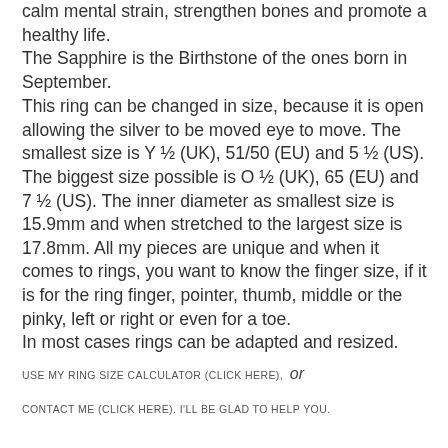calm mental strain, strengthen bones and promote a healthy life. The Sapphire is the Birthstone of the ones born in September.
This ring can be changed in size, because it is open allowing the silver to be moved eye to move. The smallest size is Y ½ (UK), 51/50 (EU) and 5 ½ (US). The biggest size possible is O ½ (UK), 65 (EU) and 7 ½ (US). The inner diameter as smallest size is 15.9mm and when stretched to the largest size is 17.8mm. All my pieces are unique and when it comes to rings, you want to know the finger size, if it is for the ring finger, pointer, thumb, middle or the pinky, left or right or even for a toe. In most cases rings can be adapted and resized.
USE MY RING SIZE CALCULATOR (CLICK HERE), or CONTACT ME (CLICK HERE). I'LL BE GLAD TO HELP YOU.